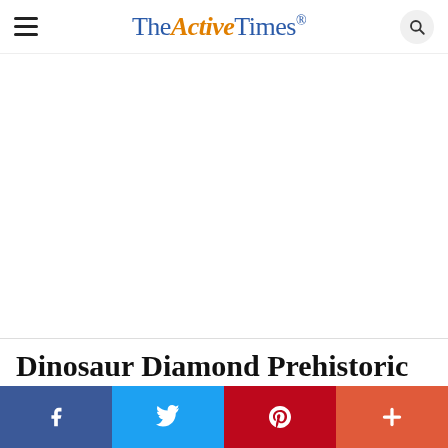The Active Times
[Figure (other): Advertisement or blank image placeholder area below the site header]
Dinosaur Diamond Prehistoric Highway, Utah and Colorado
[Figure (infographic): Social sharing bar with Facebook, Twitter, Pinterest, and More (+) buttons]